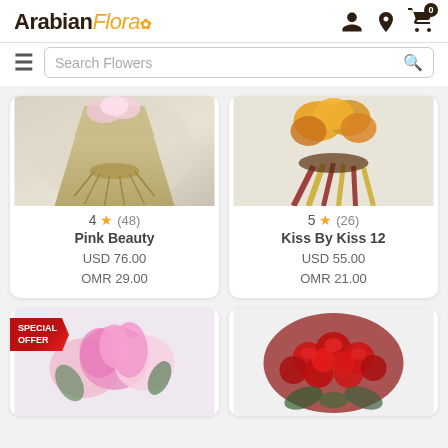ArabianFlora
Search Flowers
[Figure (photo): Pink Beauty flower bouquet wrapped in beige paper with raffia tie]
4 ★ (48)
Pink Beauty
USD 76.00
OMR 29.00
[Figure (photo): Kiss By Kiss 12 bouquet with orange flowers and striped ribbon]
5 ★ (26)
Kiss By Kiss 12
USD 55.00
OMR 21.00
[Figure (photo): Special Offer pink roses and lilies bouquet]
[Figure (photo): Red roses bouquet arrangement]